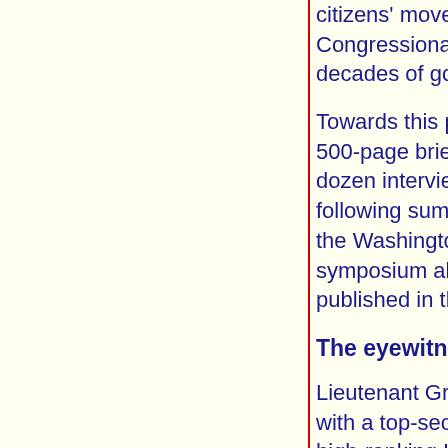citizens movement that will demand an official Congressional investigation into the UFO p… decades of government concealment of the…
Towards this purpose, Dr Greer and his tea… 500-page briefing document which includes… dozen interviews with scientific, military and… following summaries of testimony are based… the Washington press conference, at a Disc… symposium also in Washington, and from tr… published in the briefing document.
The eyewitness
Lieutenant Graham Bethune is a retired US… with a top-secret clearance. In 1951, Bethu… high-ranking US military officers and civilian… to Ardentia, Newfoundland. Just after midni… headed toward its destination, Commander… all 31 of his VIP passengers witnessed a 30…
Ã¬About 300 miles outside of Argentia, Nev… glow on the water. As we approached this g… hundreds of circles of white lights on the wa… while; when the lights went out, there was n… The next thing that we saw was a yellow ha…